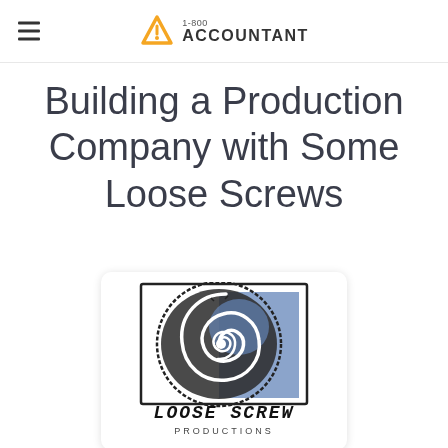1-800 ACCOUNTANT
Building a Production Company with Some Loose Screws
[Figure (logo): Loose Screw Productions logo: a sketched illustration of a swirling eye/screw spiral in blue and black ink with the text 'LOOSE SCREW PRODUCTIONS' below it]